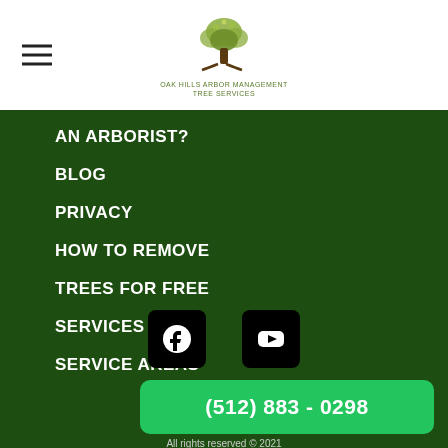[Figure (logo): Tree logo with company name for an arborist/tree service company]
AN ARBORIST?
BLOG
PRIVACY
HOW TO REMOVE
TREES FOR FREE
SERVICES
SERVICE AREAS
[Figure (logo): Facebook icon on black rounded square button]
[Figure (logo): YouTube icon on black rounded square button]
(512) 883 - 0298
All rights reserved © 2021
Designed By Convert Followers